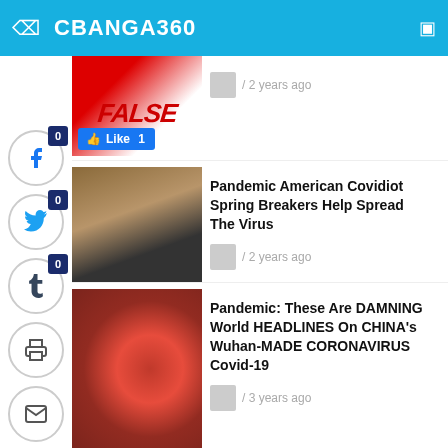CBANGA360
[Figure (screenshot): Partial article thumbnail showing FALSE text image with Like button showing 1 like]
/ 2 years ago
[Figure (photo): Young man wearing baseball cap - article thumbnail]
Pandemic American Covidiot Spring Breakers Help Spread The Virus
/ 2 years ago
[Figure (photo): Coronavirus particle image - red spiky ball]
Pandemic: These Are DAMNING World HEADLINES On CHINA’s Wuhan-MADE CORONAVIRUS Covid-19
/ 3 years ago
[Figure (photo): Partial thumbnail - blue image for hospital article]
Pandemic: A WUHAN HOSPITAL CHIEF With